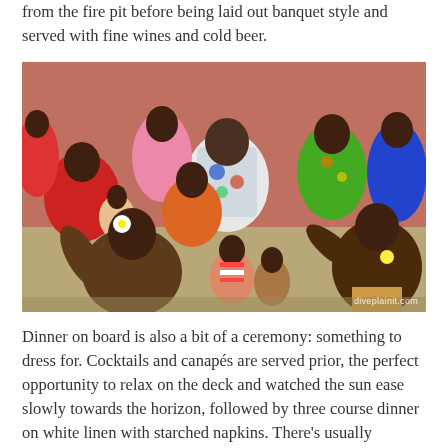from the fire pit before being laid out banquet style and served with fine wines and cold beer.
[Figure (photo): A group of Pacific Islander people (likely Fijian) gathered together, some in traditional and colorful floral attire. In the foreground, two shirtless men with flowers in their hair appear to be performing or dancing. Children and adults sit in the background. Watermark reads diveplainit.com.]
Dinner on board is also a bit of a ceremony: something to dress for. Cocktails and canapés are served prior, the perfect opportunity to relax on the deck and watched the sun ease slowly towards the horizon, followed by three course dinner on white linen with starched napkins. There's usually entertainment too though often the other guests are entertainment enough. Table companions herald from all sorts of places — Milkbar to Maldives: actually